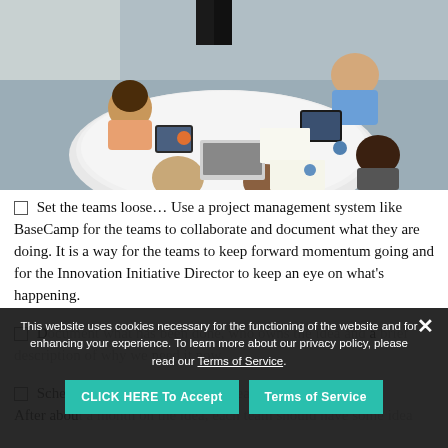[Figure (photo): Aerial view of a group of people sitting around a white oval table in a meeting, with laptops, tablets, and papers on the table, viewed from above.]
□ Set the teams loose… Use a project management system like BaseCamp for the teams to collaborate and document what they are doing. It is a way for the teams to keep forward momentum going and for the Innovation Initiative Director to keep an eye on what's happening.
□ Document what has been done, who owns the idea and a brief description of why we need it now.
□ Schedule a review of the idea... Teams should meet. After about a month on the idea, each team should have some idea
This website uses cookies necessary for the functioning of the website and for enhancing your experience. To learn more about our privacy policy, please read our Terms of Service.